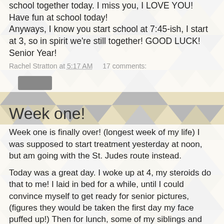school together today. I miss you, I LOVE YOU! Have fun at school today!
Anyways, I know you start school at 7:45-ish, I start at 3, so in spirit we're still together! GOOD LUCK! Senior Year!
Rachel Stratton at 5:17 AM   17 comments:
[Figure (other): Gray button/widget element]
Week one!
Week one is finally over! (longest week of my life) I was supposed to start treatment yesterday at noon, but am going with the St. Judes route instead.
Today was a great day. I woke up at 4, my steroids do that to me! I laid in bed for a while, until I could convince myself to get ready for senior pictures, (figures they would be taken the first day my face puffed up!) Then for lunch, some of my siblings and Diane (mom) went and met an awesome friend (Pam) at the cheesecake factory. If I survive this brain cancer I'm eating there EVERY DAY! Things we ordered: (I